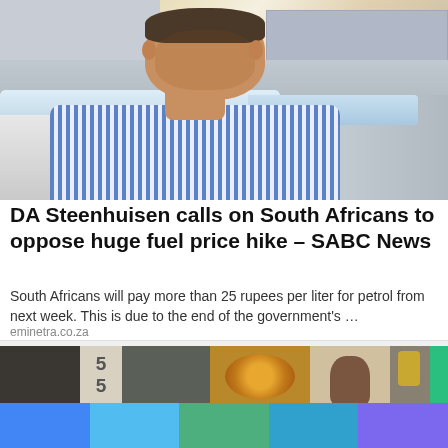[Figure (photo): Man in blue and white striped shirt outdoors near vehicles and buildings]
DA Steenhuisen calls on South Africans to oppose huge fuel price hike – SABC News
South Africans will pay more than 25 rupees per liter for petrol from next week. This is due to the end of the government's …
eminetra.co.za
[Figure (photo): Second news article thumbnail showing a person near a house entrance with decorative wreath]
[Figure (infographic): Color bar with blue, light blue, green, teal, and purple segments]